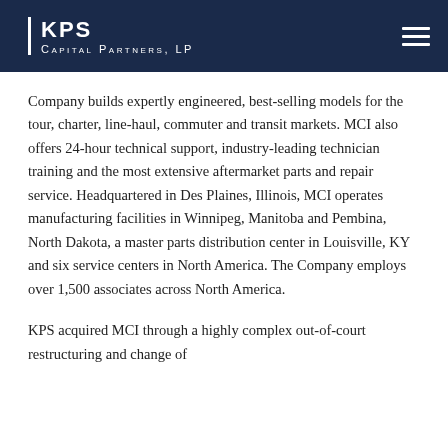KPS Capital Partners, LP
Company builds expertly engineered, best-selling models for the tour, charter, line-haul, commuter and transit markets. MCI also offers 24-hour technical support, industry-leading technician training and the most extensive aftermarket parts and repair service. Headquartered in Des Plaines, Illinois, MCI operates manufacturing facilities in Winnipeg, Manitoba and Pembina, North Dakota, a master parts distribution center in Louisville, KY and six service centers in North America. The Company employs over 1,500 associates across North America.
KPS acquired MCI through a highly complex out-of-court restructuring and change of